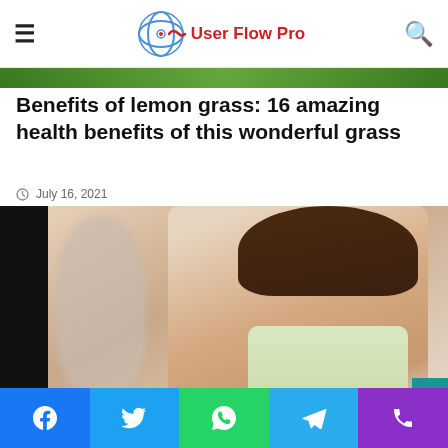User Flow Pro
Benefits of lemon grass: 16 amazing health benefits of this wonderful grass
July 16, 2021
[Figure (photo): A woman with a headache holding a thermometer, and a blurred man in background; article main image about lemon grass health benefits]
Social share bar: Facebook, Twitter, WhatsApp, Telegram, Phone